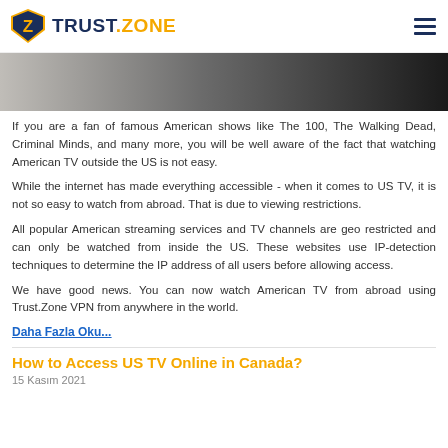TRUST.ZONE
[Figure (photo): Partial hero image showing a dark background with people, cropped at top]
If you are a fan of famous American shows like The 100, The Walking Dead, Criminal Minds, and many more, you will be well aware of the fact that watching American TV outside the US is not easy.
While the internet has made everything accessible - when it comes to US TV, it is not so easy to watch from abroad. That is due to viewing restrictions.
All popular American streaming services and TV channels are geo restricted and can only be watched from inside the US. These websites use IP-detection techniques to determine the IP address of all users before allowing access.
We have good news. You can now watch American TV from abroad using Trust.Zone VPN from anywhere in the world.
Daha Fazla Oku...
How to Access US TV Online in Canada?
15 Kasım 2021